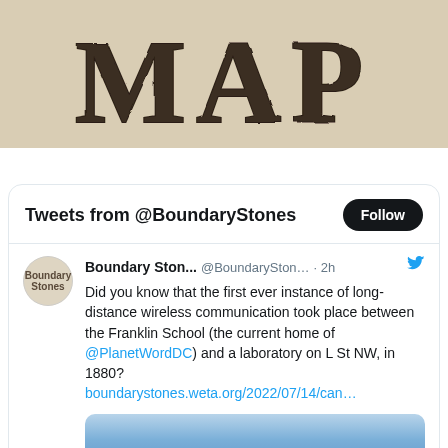[Figure (illustration): Large decorative text reading 'MAP' in distressed/grunge slab-serif font on a tan/beige background]
[Figure (screenshot): Twitter widget showing tweets from @BoundaryStones with a Follow button and a tweet about the first long-distance wireless communication at Franklin School in 1880, with a link to boundarystones.weta.org/2022/07/14/can...]